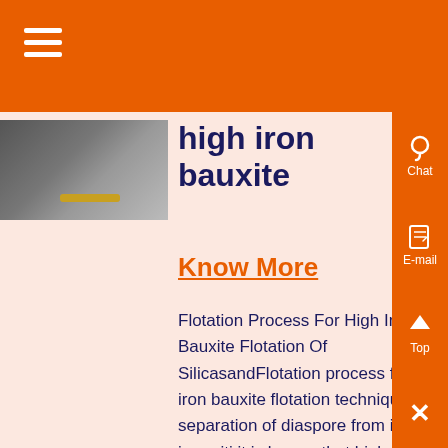high iron bauxite
Know More
Flotation Process For High Iron Bauxite Flotation Of SilicasandFlotation process for high iron bauxite flotation techniques separation of diaspore from iron impuriti it is known that high grade bauxite with Chat froth flotation wikipedia Froth flotation is a process for selectively separating hydrophobic materials from hydrophilicthis is used in mineral